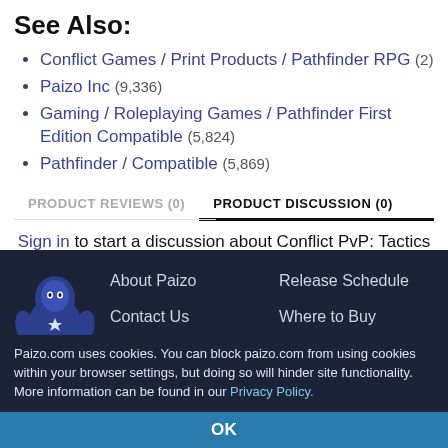See Also:
Conflict Games / Print Products / Pathfinder RPG (2)
Paizo Inc (9,336)
Gaming / Roleplaying Games / Pathfinder First Edition Compatible (5,824)
Pathfinder / Compatible (5,869)
PRODUCT REVIEWS (0)   PRODUCT DISCUSSION (0)
Sign in to start a discussion about Conflict PvP: Tactics & Teams (PFRPG) Hardcover!
[Figure (logo): Paizo goblin logo illustration in blue/white]
About Paizo   Release Schedule   Contact Us   Where to Buy
Paizo.com uses cookies. You can block paizo.com from using cookies within your browser settings, but doing so will hinder site functionality. More information can be found in our Privacy Policy.
OK